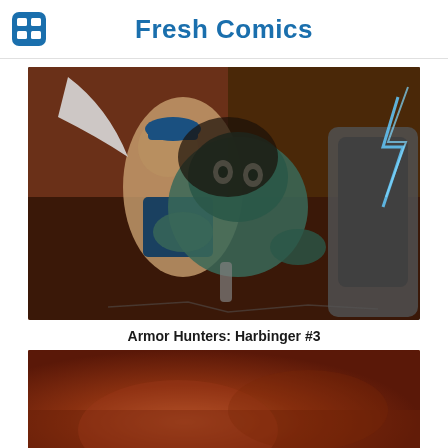Fresh Comics
[Figure (illustration): Comic book cover art showing action scene with characters fighting, one character in blue cap being struck, a large alien/monster creature in center, and another character on right with lightning effects, on brown/dark background]
Armor Hunters: Harbinger #3
[Figure (illustration): Partial comic book cover art showing reddish-brown background, partially visible at bottom of page]